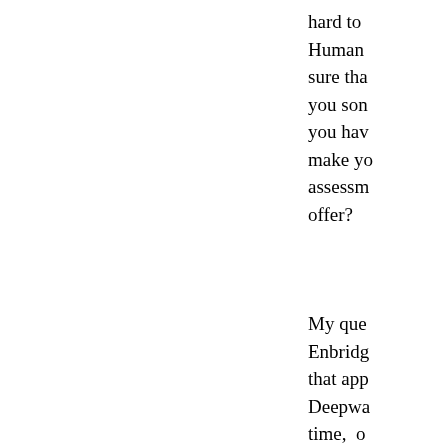hard to Human sure that you som you hav make yo assessm offer?
My que Enbridg that app Deepwa time, o Kulluk